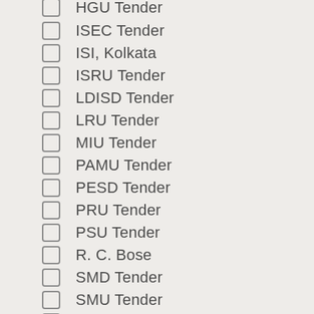ISEC Tender
ISI, Kolkata
ISRU Tender
LDISD Tender
LRU Tender
MIU Tender
PAMU Tender
PESD Tender
PRU Tender
PSU Tender
R. C. Bose
SMD Tender
SMU Tender
SOSU Tender
SQCOR Tender
SQCORD News
SRU Tender (partial)